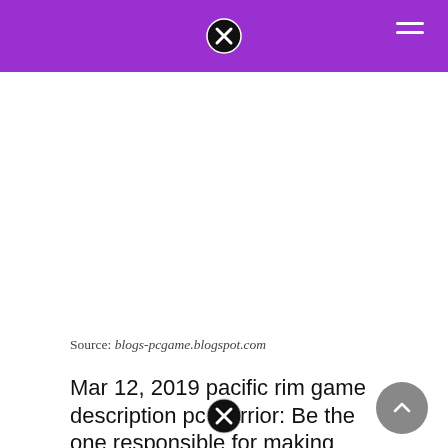Source: blogs-pcgame.blogspot.com
Mar 12, 2019 pacific rim game description pc warrior: Be the one responsible for making